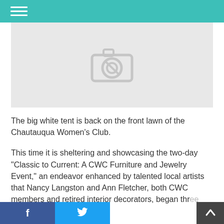Navigation menu header bar with hamburger icon
[Figure (photo): Gray placeholder image with a camera icon in the center, indicating a missing or unloaded photo]
The big white tent is back on the front lawn of the Chautauqua Women's Club.
This time it is sheltering and showcasing the two-day “Classic to Current: A CWC Furniture and Jewelry Event,” an endeavor enhanced by talented local artists that Nancy Langston and Ann Fletcher, both CWC members and retired interior decorators, began three
f  Twitter share  Up arrow